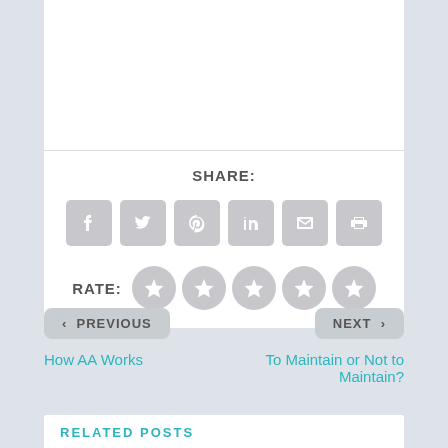SHARE:
[Figure (infographic): Six social sharing icon buttons: Facebook, Twitter, Pinterest, LinkedIn, Email, Print — gray rounded squares]
RATE:
[Figure (infographic): Five gray circle star rating buttons]
< PREVIOUS
NEXT >
How AA Works
To Maintain or Not to Maintain?
RELATED POSTS